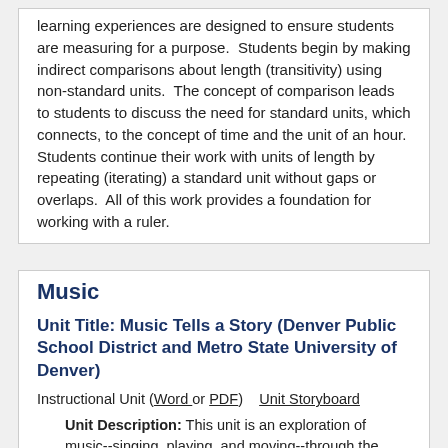learning experiences are designed to ensure students are measuring for a purpose.  Students begin by making indirect comparisons about length (transitivity) using non-standard units.  The concept of comparison leads to students to discuss the need for standard units, which connects, to the concept of time and the unit of an hour.  Students continue their work with units of length by repeating (iterating) a standard unit without gaps or overlaps.  All of this work provides a foundation for working with a ruler.
Music
Unit Title: Music Tells a Story (Denver Public School District and Metro State University of Denver)
Instructional Unit (Word or PDF)    Unit Storyboard
Unit Description: This unit is an exploration of music--singing, playing, and moving--through the storytelling process. Each student will get an opportunity to engage with understanding the mood and emotions related to a